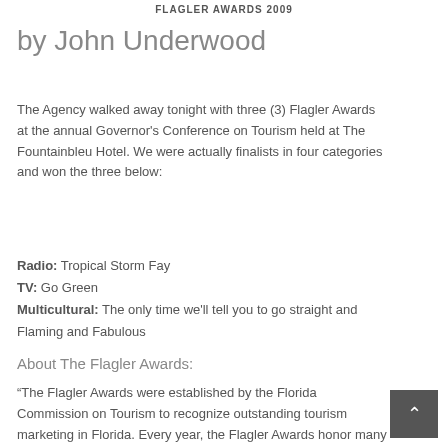FLAGLER AWARDS 2009
by John Underwood
The Agency walked away tonight with three (3) Flagler Awards at the annual Governor's Conference on Tourism held at The Fountainbleu Hotel. We were actually finalists in four categories and won the three below:
Radio: Tropical Storm Fay
TV: Go Green
Multicultural: The only time we'll tell you to go straight and Flaming and Fabulous
About The Flagler Awards:
“The Flagler Awards were established by the Florida Commission on Tourism to recognize outstanding tourism marketing in Florida. Every year, the Flagler Awards honor many of the